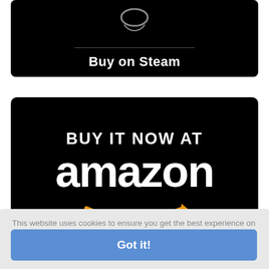[Figure (screenshot): Steam 'Buy on Steam' banner: dark/black background with a Steam logo icon at top, a horizontal divider line, and 'Buy on Steam' text in white bold font.]
[Figure (screenshot): Amazon 'BUY IT NOW AT amazon' banner: black background with 'BUY IT NOW AT' in white bold uppercase text, large 'amazon' text below in white, with the Amazon smile/arrow logo in orange beneath.]
[Figure (screenshot): Cookie consent overlay on a light grey background, showing text 'This website uses cookies to ensure you get the best experience on our website.' with a 'Learn more' link and a blue 'Got it!' button.]
f the South London Network route for Train Simulator.